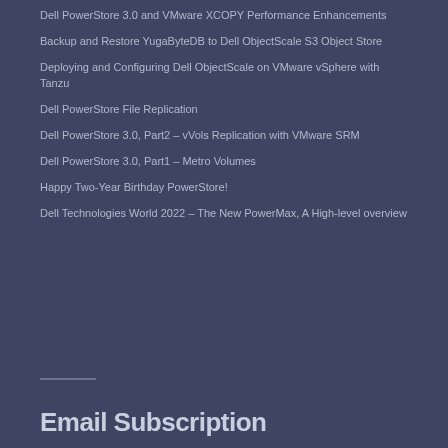Dell PowerStore 3.0 and VMware XCOPY Performance Enhancements
Backup and Restore YugaByteDB to Dell ObjectScale S3 Object Store
Deploying and Configuring Dell ObjectScale on VMware vSphere with Tanzu
Dell PowerStore File Replication
Dell PowerStore 3.0, Part2 – vVols Replication with VMware SRM
Dell PowerStore 3.0, Part1 – Metro Volumes
Happy Two-Year Birthday PowerStore!
Dell Technologies World 2022 – The New PowerMax, A High-level overview
Email Subscription